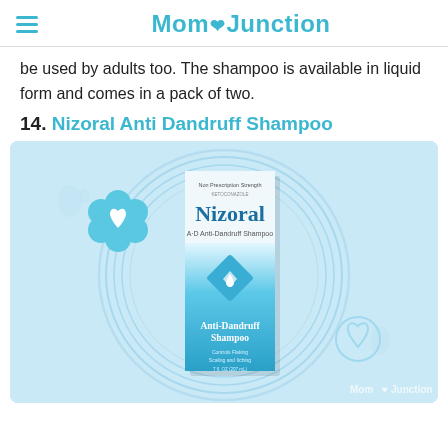Mom Junction
be used by adults too. The shampoo is available in liquid form and comes in a pack of two.
14. Nizoral Anti Dandruff Shampoo
[Figure (photo): Product photo of Nizoral Anti-Dandruff Shampoo bottle/box displayed on a light blue background with circular decorative rings and a floral badge icon. The box shows 'Nizoral A-D Anti-Dandruff Shampoo' text. MomJunction watermark in bottom right.]